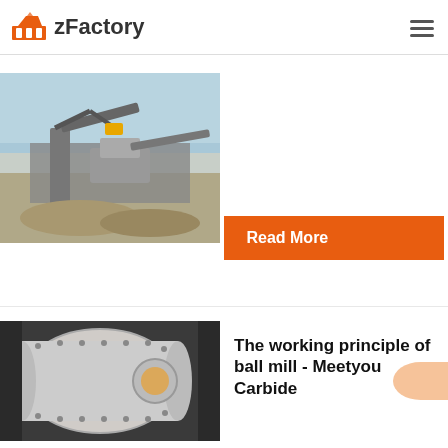zFactory
[Figure (photo): Outdoor mining/crushing plant machinery with excavator and conveyor belts]
Read More
Ball Mill Working Principle And Main Parts
34   2015-7-14   Ball Mill Worki...
[Figure (photo): Large white cylindrical ball mill inside industrial facility]
The working principle of ball mill - Meetyou Carbide